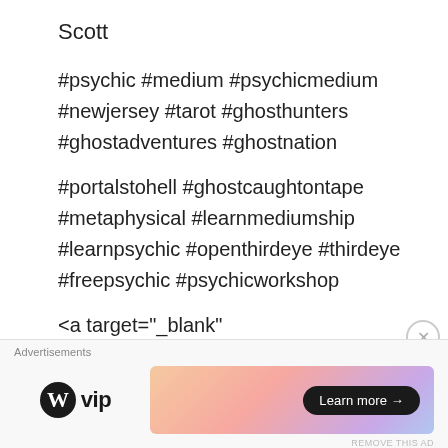Scott
#psychic #medium #psychicmedium #newjersey #tarot #ghosthunters #ghostadventures #ghostnation

#portalstohell #ghostcaughtontape #metaphysical #learnmediumship #learnpsychic #openthirdeye #thirdeye #freepsychic #psychicworkshop
<a target="_blank" href="https://shareasale.com/r.cfm?b=1235169&u=1904255&m=38286&urlli
Advertisements